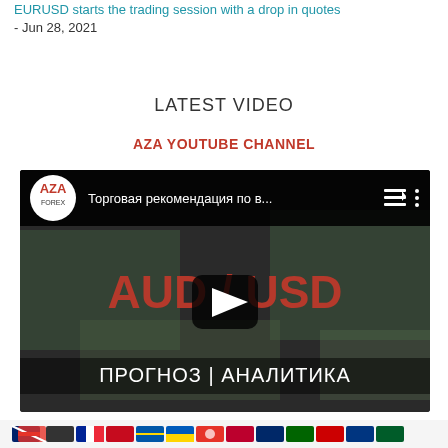EURUSD starts the trading session with a drop in quotes - Jun 28, 2021
LATEST VIDEO
AZA YOUTUBE CHANNEL
[Figure (screenshot): YouTube video thumbnail showing AZA Forex channel video titled 'Торговая рекомендация по в...' with AUD/USD text overlay and ПРОГНОЗ | АНАЛИТИКА subtitle, with play button in center]
[Figure (other): Row of country flag icons at the bottom of the page]